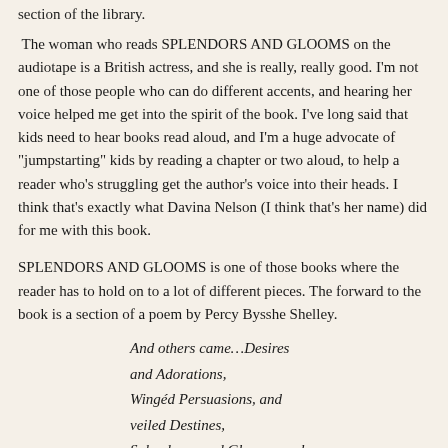section of the library.
The woman who reads SPLENDORS AND GLOOMS on the audiotape is a British actress, and she is really, really good. I'm not one of those people who can do different accents, and hearing her voice helped me get into the spirit of the book. I've long said that kids need to hear books read aloud, and I'm a huge advocate of "jumpstarting" kids by reading a chapter or two aloud, to help a reader who's struggling get the author's voice into their heads. I think that's exactly what Davina Nelson (I think that's her name) did for me with this book.
SPLENDORS AND GLOOMS is one of those books where the reader has to hold on to a lot of different pieces. The forward to the book is a section of a poem by Percy Bysshe Shelley.
And others came…Desires and Adorations,
Wingéd Persuasions, and veiled Destines,
Splendours and Glooms, and glimmering Incarnations,
Of Hopes and Fears, and